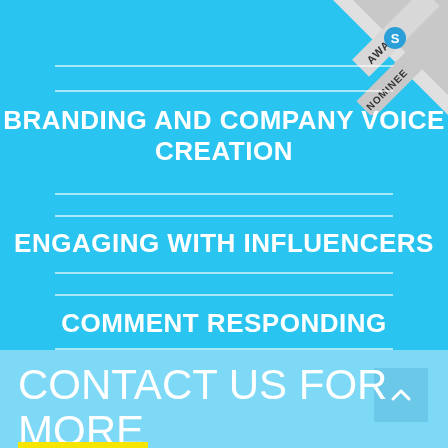[Figure (other): Award nominee ribbon badge in top right corner with silver/grey ribbon showing 'AWARD NOMINEE' text and a small logo]
BRANDING AND COMPANY VOICE CREATION
ENGAGING WITH INFLUENCERS
COMMENT RESPONDING
CONTACT US FOR MORE INFORMATION